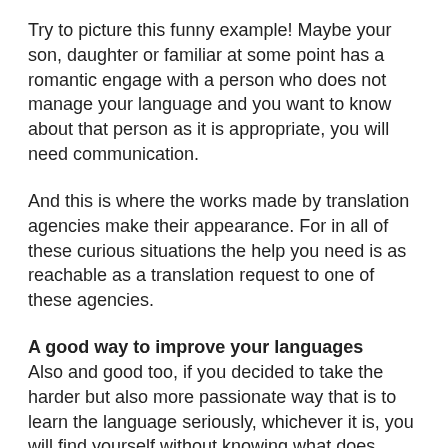Try to picture this funny example! Maybe your son, daughter or familiar at some point has a romantic engage with a person who does not manage your language and you want to know about that person as it is appropriate, you will need communication.
And this is where the works made by translation agencies make their appearance. For in all of these curious situations the help you need is as reachable as a translation request to one of these agencies.
A good way to improve your languages
Also and good too, if you decided to take the harder but also more passionate way that is to learn the language seriously, whichever it is, you will find yourself without knowing what does some words mean, so here you can use a bilingual dictionary or a digital translator, for more complicated or specific cases, we strongly advise you to hire small human